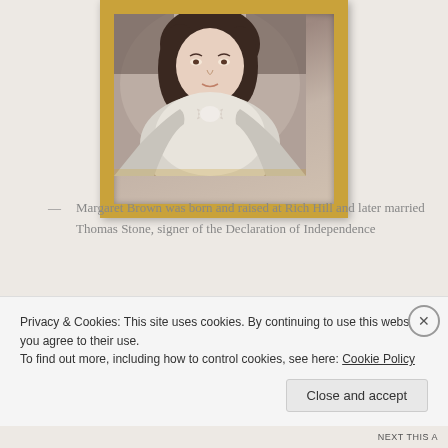[Figure (photo): Portrait painting of Margaret Brown in a gold ornate frame, showing a woman in white/grey clothing with dark hair, depicted from shoulders up]
— Margaret Brown was born and raised at Rich Hill and later married Thomas Stone, signer of the Declaration of Independence
Margaret Stone nee Brown was the youngest child of Dr. Gustavus Brown, Sr. and his second wife, Margaret Boyd. While the exact details about her life are uncertain, we know she was born at Rich Hill in
Privacy & Cookies: This site uses cookies. By continuing to use this website, you agree to their use.
To find out more, including how to control cookies, see here: Cookie Policy
Close and accept